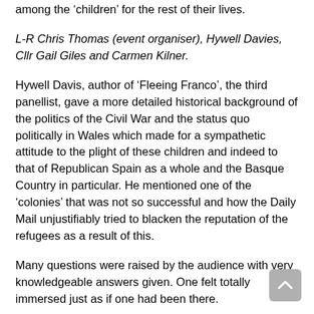among the 'children' for the rest of their lives.
L-R Chris Thomas (event organiser), Hywell Davies, Cllr Gail Giles and Carmen Kilner.
Hywell Davis, author of 'Fleeing Franco', the third panellist, gave a more detailed historical background of the politics of the Civil War and the status quo politically in Wales which made for a sympathetic attitude to the plight of these children and indeed to that of Republican Spain as a whole and the Basque Country in particular. He mentioned one of the 'colonies' that was not so successful and how the Daily Mail unjustifiably tried to blacken the reputation of the refugees as a result of this.
Many questions were raised by the audience with very knowledgeable answers given. One felt totally immersed just as if one had been there.